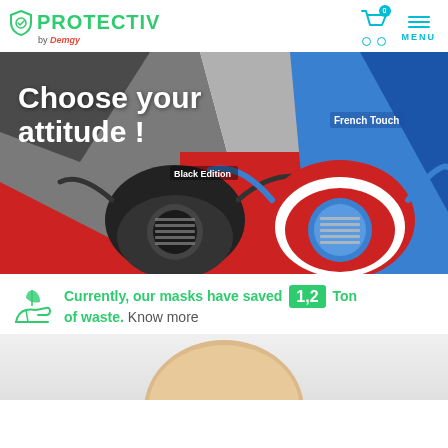PROTECTIV by Demgy — navigation header with cart (0) and MENU
[Figure (photo): Product banner showing two half-face respirator masks: 'Black Edition' (black mask on left) and 'French Touch' (red, white, blue mask on right) on a geometric background with text 'Choose your attitude!']
Currently, our masks have saved 1,2 Ton of waste. Know more
[Figure (photo): Partial bottom image showing a person's head/skin, cropped at top of the image, on a light grey background]